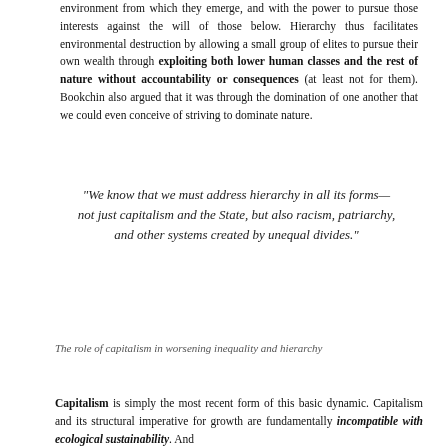environment from which they emerge, and with the power to pursue those interests against the will of those below. Hierarchy thus facilitates environmental destruction by allowing a small group of elites to pursue their own wealth through exploiting both lower human classes and the rest of nature without accountability or consequences (at least not for them). Bookchin also argued that it was through the domination of one another that we could even conceive of striving to dominate nature.
“We know that we must address hierarchy in all its forms— not just capitalism and the State, but also racism, patriarchy, and other systems created by unequal divides.”
The role of capitalism in worsening inequality and hierarchy
Capitalism is simply the most recent form of this basic dynamic. Capitalism and its structural imperative for growth are fundamentally incompatible with ecological sustainability. And